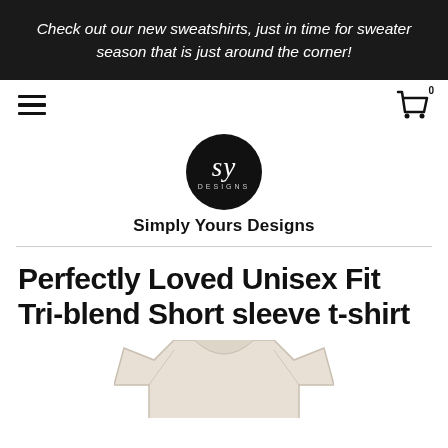Check out our new sweatshirts, just in time for sweater season that is just around the corner!
[Figure (logo): Navigation bar with hamburger menu icon on left and shopping cart icon with badge '0' on right]
[Figure (logo): Simply Yours Designs circular black logo with cursive 'sy' and 'DESIGNS' text]
Simply Yours Designs
Perfectly Loved Unisex Fit Tri-blend Short sleeve t-shirt
[Figure (photo): Light cream/natural colored t-shirt product photo, cropped at bottom of page]